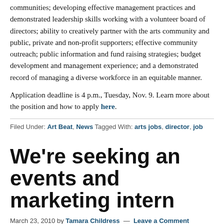communities; developing effective management practices and demonstrated leadership skills working with a volunteer board of directors; ability to creatively partner with the arts community and public, private and non-profit supporters; effective community outreach; public information and fund raising strategies; budget development and management experience; and a demonstrated record of managing a diverse workforce in an equitable manner.
Application deadline is 4 p.m., Tuesday, Nov. 9. Learn more about the position and how to apply here.
Filed Under: Art Beat, News Tagged With: arts jobs, director, job
We're seeking an events and marketing intern
March 23, 2010 by Tamara Childress — Leave a Comment